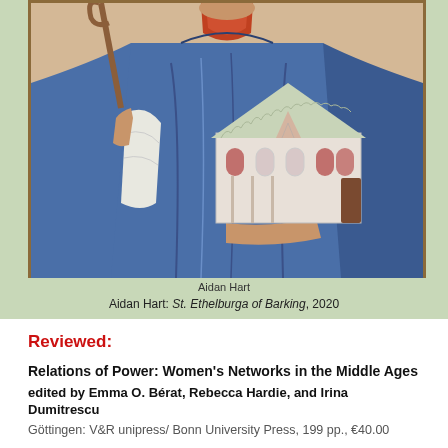[Figure (illustration): Religious icon painting of St. Ethelburga of Barking, depicted in Byzantine style. The figure wears a blue robe and holds a staff in one hand and a miniature model of a church building in the other outstretched hand. The church model has a tiled roof and arched windows. The icon has a warm earth-toned border frame.]
Aidan Hart
Aidan Hart: St. Ethelburga of Barking, 2020
Reviewed:
Relations of Power: Women's Networks in the Middle Ages edited by Emma O. Bérat, Rebecca Hardie, and Irina Dumitrescu Göttingen: V&R unipress/ Bonn University Press, 199 pp., €40.00